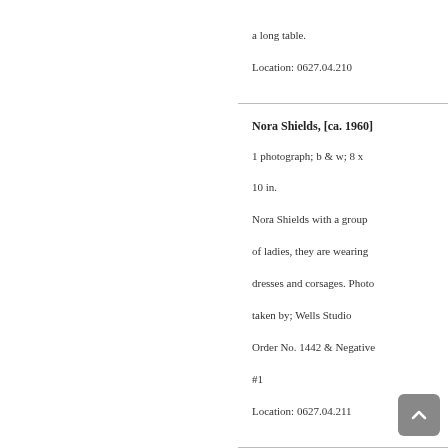a long table.

Location: 0627.04.210
Nora Shields, [ca. 1960]
1 photograph; b & w; 8 x 10 in.

Nora Shields with a group of ladies, they are wearing dresses and corsages. Photo taken by; Wells Studio Order No. 1442 & Negative #1

Location: 0627.04.211
Jack, Betty, Tom, Bill Shields with Aunt Bessie